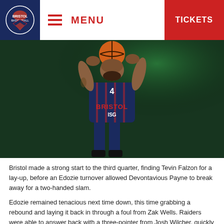MENU | TICKETS
[Figure (photo): Basketball player wearing Bristol #4 jersey shooting the ball, dark green background]
Bristol made a strong start to the third quarter, finding Tevin Falzon for a lay-up, before an Edozie turnover allowed Devontavious Payne to break away for a two-handed slam.
Edozie remained tenacious next time down, this time grabbing a rebound and laying it back in through a foul from Zak Wells. Raiders were able to answer back with a three-pointer from Josh Wilcher, quickly followed by a fast break lay-up from Rashad Hassan.